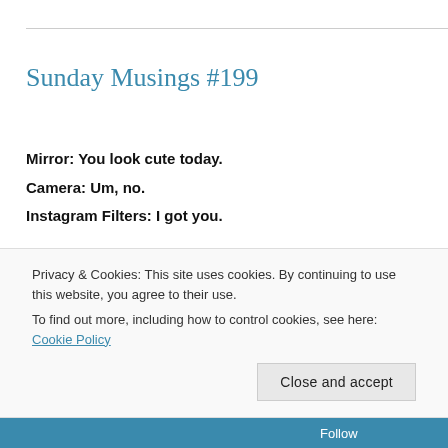Sunday Musings #199
Mirror: You look cute today.
Camera: Um, no.
Instagram Filters: I got you.
– Unknown
Privacy & Cookies: This site uses cookies. By continuing to use this website, you agree to their use.
To find out more, including how to control cookies, see here: Cookie Policy
Close and accept